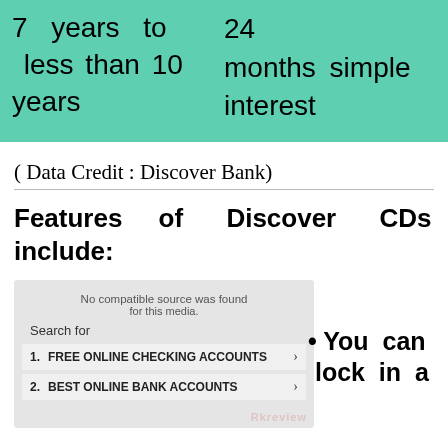| 7 years to less than 10 years | 24 months simple interest |
( Data Credit : Discover Bank)
Features of Discover CDs include:
[Figure (other): Advertisement overlay with search results for FREE ONLINE CHECKING ACCOUNTS and BEST ONLINE BANK ACCOUNTS]
You  can  lock  in  a